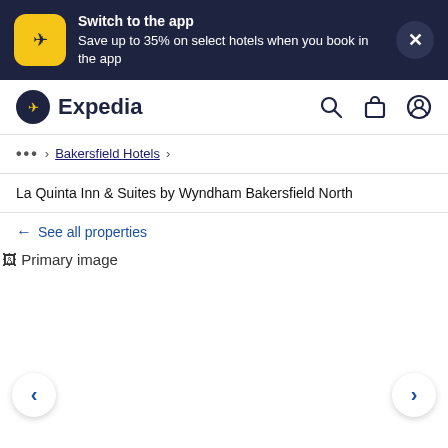[Figure (screenshot): App promotion banner with Expedia app icon, text about switching to app to save up to 35% on select hotels, and a close button]
Expedia
... > Bakersfield Hotels >
La Quinta Inn & Suites by Wyndham Bakersfield North
← See all properties
[Figure (photo): Primary image placeholder for La Quinta Inn & Suites by Wyndham Bakersfield North]